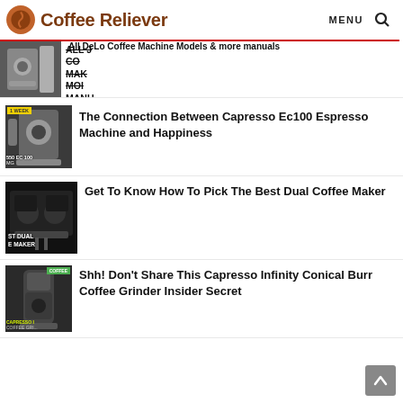Coffee Reliever — MENU [search]
[Figure (screenshot): Partially visible article thumbnail of a coffee machine with overlaid text: ALL J / CO / MAK / MOI / MANU]
All DeLo Coffee Machine Models & more manuals
[Figure (screenshot): Capresso EC100 espresso machine thumbnail with yellow badge and label '550 EC 100']
The Connection Between Capresso Ec100 Espresso Machine and Happiness
[Figure (photo): Dark dual coffee maker image with overlay text 'ST DUAL E MAKER']
Get To Know How To Pick The Best Dual Coffee Maker
[Figure (photo): Capresso Infinity conical burr coffee grinder with green badge and text 'CAPRESSO I']
Shh! Don't Share This Capresso Infinity Conical Burr Coffee Grinder Insider Secret